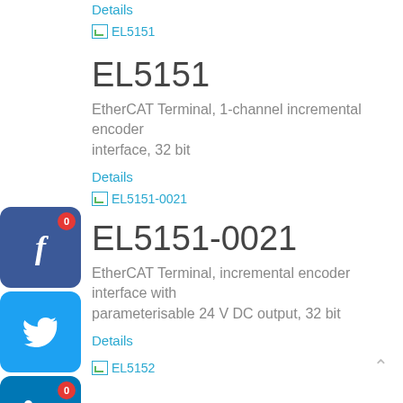Details
[Figure (screenshot): Thumbnail image placeholder with link labeled EL5151]
EL5151
EtherCAT Terminal, 1-channel incremental encoder interface, 32 bit
Details
EL5151-0021
EL5151-0021
EtherCAT Terminal, incremental encoder interface with parameterisable 24 V DC output, 32 bit
Details
[Figure (screenshot): Thumbnail image placeholder with link labeled EL5152]